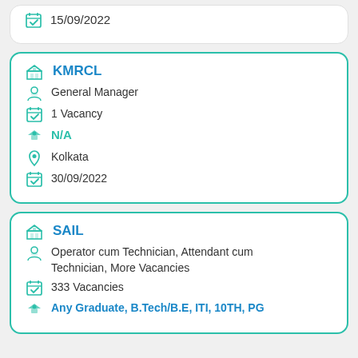15/09/2022
KMRCL
General Manager
1 Vacancy
N/A
Kolkata
30/09/2022
SAIL
Operator cum Technician, Attendant cum Technician, More Vacancies
333 Vacancies
Any Graduate, B.Tech/B.E, ITI, 10TH, PG